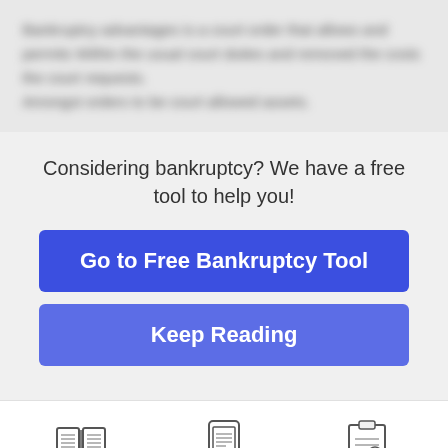[Figure (screenshot): Blurred/redacted text content from a legal article about bankruptcy]
Considering bankruptcy? We have a free tool to help you!
Go to Free Bankruptcy Tool
Keep Reading
[Figure (illustration): Icon of an open book representing Free Articles]
Free Articles
[Figure (illustration): Icon of a smartphone/tool representing Bankruptcy Tool]
Bankruptcy Tool
[Figure (illustration): Icon of a clipboard with checkmarks representing Filing Guide]
Filing Guide